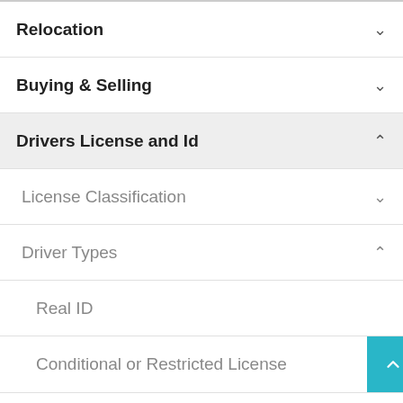Relocation
Buying & Selling
Drivers License and Id
License Classification
Driver Types
Real ID
Conditional or Restricted License
New Drivers Under 18